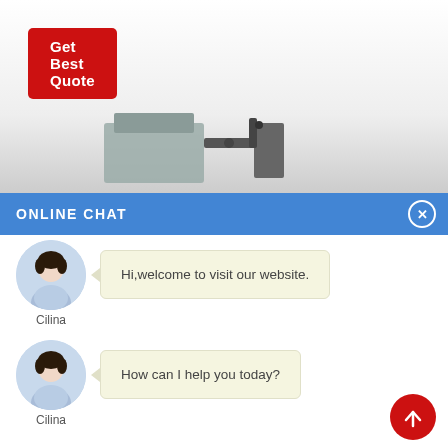[Figure (screenshot): Product image area showing industrial machine/equipment partially visible at bottom, white to grey gradient background]
Get Best Quote
ONLINE CHAT
[Figure (photo): Avatar photo of a woman named Cilina in a blue shirt]
Hi,welcome to visit our website.
Cilina
[Figure (photo): Avatar photo of a woman named Cilina in a blue shirt]
How can I help you today?
Cilina